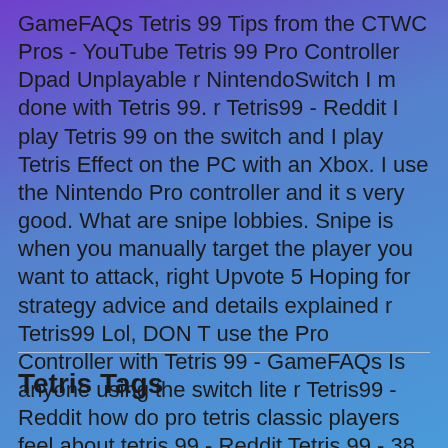GameFAQs Tetris 99 Tips from the CTWC Pros - YouTube Tetris 99 Pro Controller Dpad Unplayable r NintendoSwitch I m done with Tetris 99. r Tetris99 - Reddit I play Tetris 99 on the switch and I play Tetris Effect on the PC with an Xbox. I use the Nintendo Pro controller and it s very good. What are snipe lobbies. Snipe is when you manually target the player you want to attack, right Upvote 5 Hoping for strategy advice and details explained r Tetris99 Lol, DON T use the Pro Controller with Tetris 99 - GameFAQs Is anyone using the switch lite r Tetris99 - Reddit how do pro tetris classic players feel about tetris 99 - Reddit Tetris 99 - 38 Kill 1 Victory Royale - Wumbo - YouTube
Tetris Tags